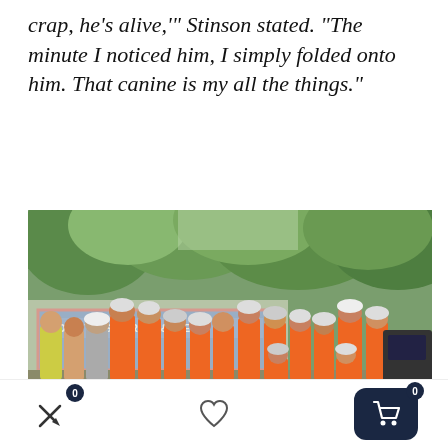crap, he’s alive,’” Stinson stated. “The minute I noticed him, I simply folded onto him. That canine is my all the things.”
[Figure (photo): Group photo of search and rescue team members wearing orange vests and hard hats standing in front of a County Search & Rescue vehicle, with trees in the background]